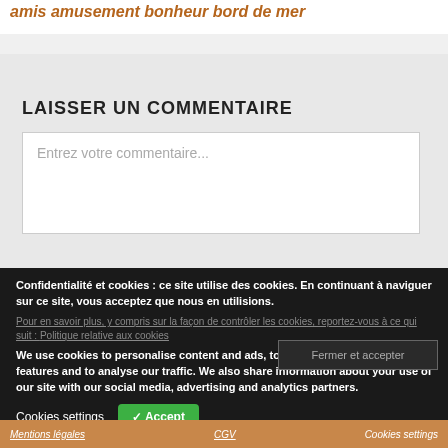amis amusement bonheur bord de mer
LAISSER UN COMMENTAIRE
Entrez votre commentaire...
Confidentialité et cookies : ce site utilise des cookies. En continuant à naviguer sur ce site, vous acceptez que nous en utilisions.
Pour en savoir plus, y compris sur la façon de contrôler les cookies, reportez-vous à ce qui suit : Politique relative aux cookies
We use cookies to personalise content and ads, to provide social media features and to analyse our traffic. We also share information about your use of our site with our social media, advertising and analytics partners.
Fermer et accepter
Cookies settings
✓ Accept
Mentions légales   CGV   Cookies settings